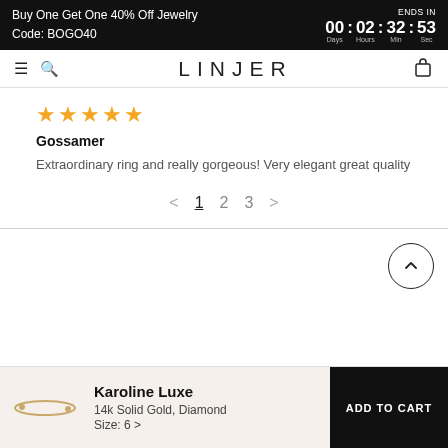Buy One Get One 40% Off Jewelry Code: BOGO40 | ENDS IN 00 Days : 02 Hours : 32 Min : 53 Sec
LINJER
★★★★★
Gossamer
Extraordinary ring and really gorgeous! Very elegant great quality
< 1 2 3 >
[Figure (other): Back to top button with upward chevron icon]
Karoline Luxe
14k Solid Gold, Diamond
Size: 6 >
ADD TO CART